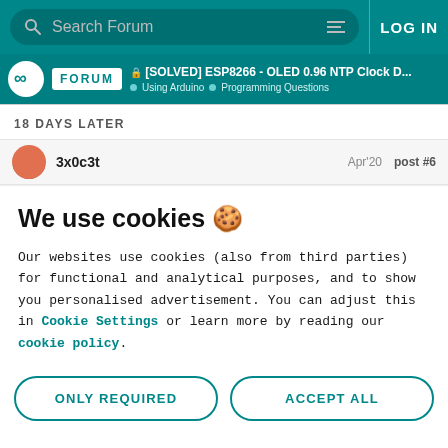Search Forum | LOG IN
[SOLVED] ESP8266 - OLED 0.96 NTP Clock D... | Using Arduino | Programming Questions
18 DAYS LATER
3x0c3t | Apr'20 | post #6
We use cookies 🍪
Our websites use cookies (also from third parties) for functional and analytical purposes, and to show you personalised advertisement. You can adjust this in Cookie Settings or learn more by reading our cookie policy.
ONLY REQUIRED
ACCEPT ALL